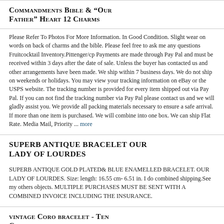Commandments Bible & "Our Father" Heart 12 Charms
Please Refer To Photos For More Information. In Good Condition. Slight wear on words on back of charms and the bible. Please feel free to ask me any questions Fruitcocktail Inventory.Pittenger/cp Payments are made through Pay Pal and must be received within 3 days after the date of sale. Unless the buyer has contacted us and other arrangements have been made. We ship within 7 business days. We do not ship on weekends or holidays. You may view your tracking information on eBay or the USPS website. The tracking number is provided for every item shipped out via Pay Pal. If you can not find the tracking number via Pay Pal please contact us and we will gladly assist you. We provide all packing materials necessary to ensure a safe arrival. If more than one item is purchased. We will combine into one box. We can ship Flat Rate. Media Mail, Priority ... more
SUPERB ANTIQUE BRACELET OUR LADY OF LOURDES
SUPERB ANTIQUE GOLD PLATED& BLUE ENAMELLED BRACELET. OUR LADY OF LOURDES. Size: length: 16.55 cm- 6.51 in. I do combined shipping.See my others objects. MULTIPLE PURCHASES MUST BE SENT WITH A COMBINED INVOICE INCLUDING THE INSURANCE.
vintage Coro bracelet - Ten Commandments - gold tone charms and bracelet
Please click on the large photo to open the window showing all the large photos. There are 12 photos. This is a great vintage bracelet by Coro. It